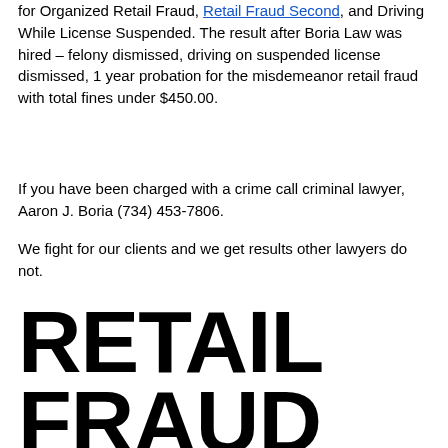for Organized Retail Fraud, Retail Fraud Second, and Driving While License Suspended. The result after Boria Law was hired – felony dismissed, driving on suspended license dismissed, 1 year probation for the misdemeanor retail fraud with total fines under $450.00.
If you have been charged with a crime call criminal lawyer, Aaron J. Boria (734) 453-7806.
We fight for our clients and we get results other lawyers do not.
RETAIL FRAUD FELONY